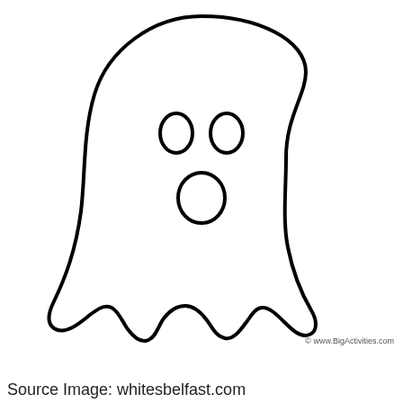[Figure (illustration): A simple outline coloring-page illustration of a ghost. The ghost has a rounded head at the top, two small oval eyes, a round open mouth, a wide body tapering outward toward the bottom, and a wavy bottom hem. All drawn in black outline on white background. Copyright mark: © www.BigActivities.com]
© www.BigActivities.com
Source Image: whitesbelfast.com